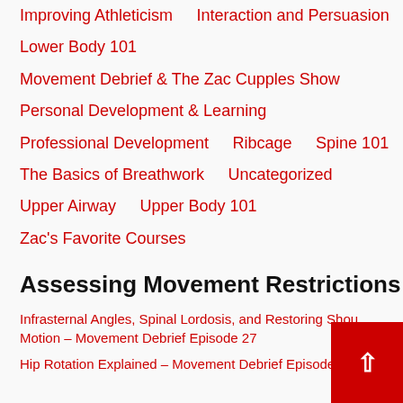Improving Athleticism
Interaction and Persuasion
Lower Body 101
Movement Debrief & The Zac Cupples Show
Personal Development & Learning
Professional Development
Ribcage
Spine 101
The Basics of Breathwork
Uncategorized
Upper Airway
Upper Body 101
Zac's Favorite Courses
Assessing Movement Restrictions
Infrasternal Angles, Spinal Lordosis, and Restoring Shoulder Motion – Movement Debrief Episode 27
Hip Rotation Explained – Movement Debrief Episode 111